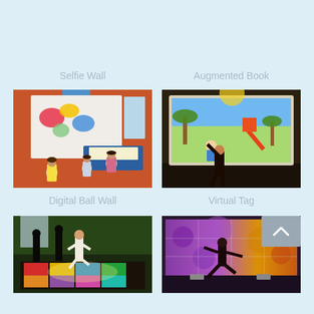Selfie Wall
Augmented Book
[Figure (photo): Children playing at a Digital Ball Wall interactive exhibit, with colorful paint-like projections on a white wall in a colorful indoor play area]
[Figure (photo): Child interacting with a large projected Virtual Tag screen showing a cartoon nature scene with a slide and palm trees]
Digital Ball Wall
Virtual Tag
[Figure (photo): Children jumping on a colorful lit interactive floor display in a dark room with forest background]
[Figure (photo): Child jumping in front of a large purple/floral LED video wall display]